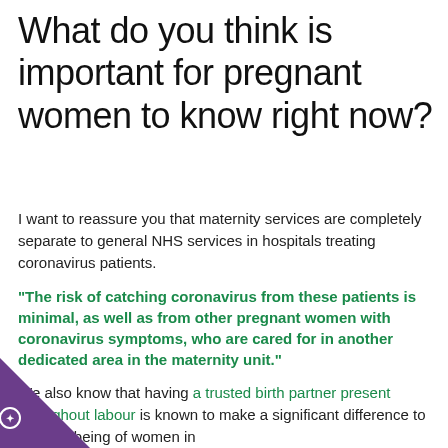What do you think is important for pregnant women to know right now?
I want to reassure you that maternity services are completely separate to general NHS services in hospitals treating coronavirus patients.
"The risk of catching coronavirus from these patients is minimal, as well as from other pregnant women with coronavirus symptoms, who are cared for in another dedicated area in the maternity unit."
We also know that having a trusted birth partner present throughout labour is known to make a significant difference to the well-being of women in